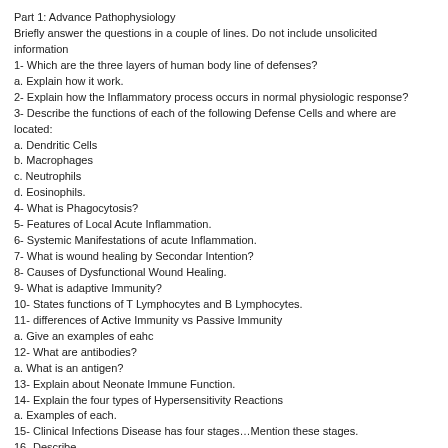Part 1: Advance Pathophysiology
Briefly answer the questions in a couple of lines. Do not include unsolicited information
1- Which are the three layers of human body line of defenses?
a. Explain how it work.
2- Explain how the Inflammatory process occurs in normal physiologic response?
3- Describe the functions of each of the following Defense Cells and where are located:
a. Dendritic Cells
b. Macrophages
c. Neutrophils
d. Eosinophils.
4- What is Phagocytosis?
5- Features of Local Acute Inflammation.
6- Systemic Manifestations of acute Inflammation.
7- What is wound healing by Secondar Intention?
8- Causes of Dysfunctional Wound Healing.
9- What is adaptive Immunity?
10- States functions of T Lymphocytes and B Lymphocytes.
11- differences of Active Immunity vs Passive Immunity
a. Give an examples of eahc
12- What are antibodies?
a. What is an antigen?
13- Explain about Neonate Immune Function.
14- Explain the four types of Hypersensitivity Reactions
a. Examples of each.
15- Clinical Infections Disease has four stages…Mention these stages.
16- Describe
a. Epidemic
b. Endemic
c. Pandemic.
Bacteria can produce a variety of toxic molecules that may kill the individual's cells, disrupt tissue, and protect the individual against inflammation.